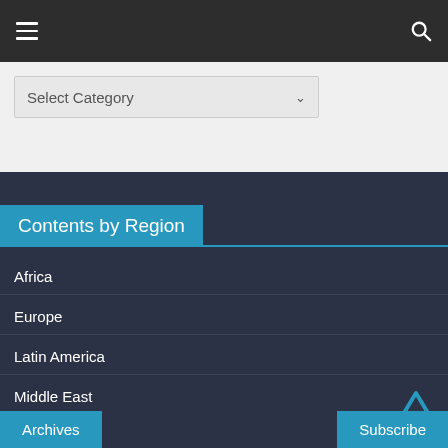Navigation bar with menu and search icons
Select Category
Contents by Region
Africa
Europe
Latin America
Middle East
North America/USA
Archives
Subscribe